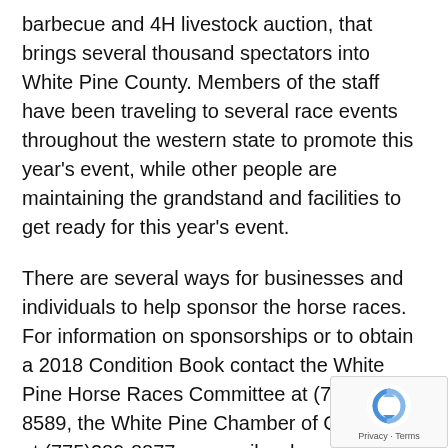barbecue and 4H livestock auction, that brings several thousand spectators into White Pine County. Members of the staff have been traveling to several race events throughout the western state to promote this year's event, while other people are maintaining the grandstand and facilities to get ready for this year's event.
There are several ways for businesses and individuals to help sponsor the horse races. For information on sponsorships or to obtain a 2018 Condition Book contact the White Pine Horse Races Committee at (775) 289-8589, the White Pine Chamber of Commerce at (775)289-8877 or e-mail wphorseraces@yahoo.com.
[Figure (logo): reCAPTCHA logo with circular arrows icon and Privacy · Terms footer text]